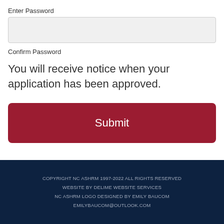Enter Password
[Figure (other): Empty password input field with light gray background]
Confirm Password
You will receive notice when your application has been approved.
[Figure (other): Submit button with dark red background and white 'Submit' text]
COPYRIGHT NC ASHRM 1997-2022 ALL RIGHTS RESERVED
WEBSITE BY DELIME WEBSITE SERVICES
NC ASHRM LOGO DESIGNED BY EMILY BAUCOM
EMILYBAUCOM@OUTLOOK.COM